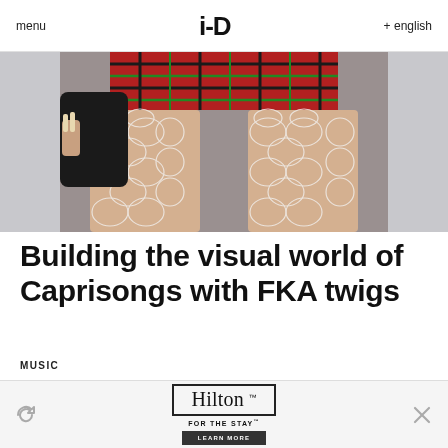menu  i-D  + english
[Figure (photo): Cropped photo showing lower body of a person wearing a red plaid mini skirt and large fishnet stockings, holding a black bag, with a gray sky background.]
Building the visual world of Caprisongs with FKA twigs
MUSIC
[Figure (other): Hilton FOR THE STAY advertisement with a LEARN MORE button, refresh icon on the left, and close (X) icon on the right.]